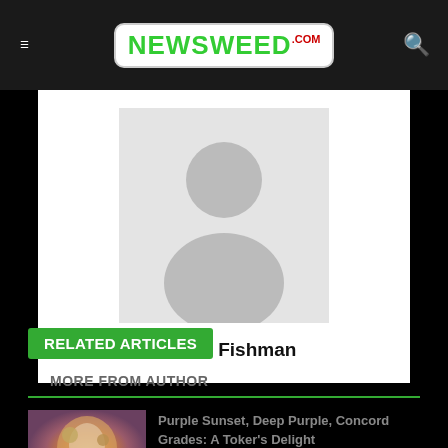NEWSWEED.COM
[Figure (photo): Default user avatar placeholder image — grey silhouette of a person on a light grey background]
Hunter Fishman
RELATED ARTICLES
MORE FROM AUTHOR
[Figure (photo): Close-up photo of a cannabis flower bud with purple and orange tones]
Purple Sunset, Deep Purple, Concord Grades: A Toker's Delight